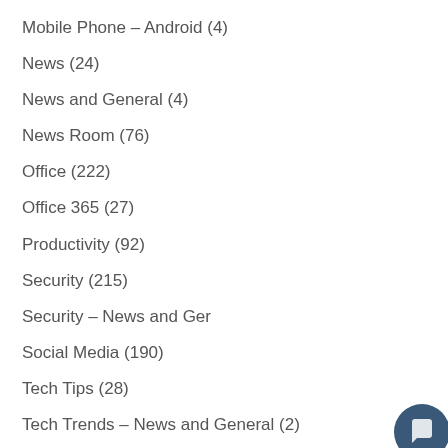Mobile Phone – Android (4)
News (24)
News and General (4)
News Room (76)
Office (222)
Office 365 (27)
Productivity (92)
Security (215)
Security – News and General
Social Media (190)
Tech Tips (28)
Tech Trends – News and General (2)
Tech Trends and Tips (2)
Uncategorized (41)
[Figure (screenshot): Chat popup widget with avatar photo of a woman and message 'Hey there! How can we help you today?' with a close button, plus a dark blue circular chat button in the bottom right corner.]